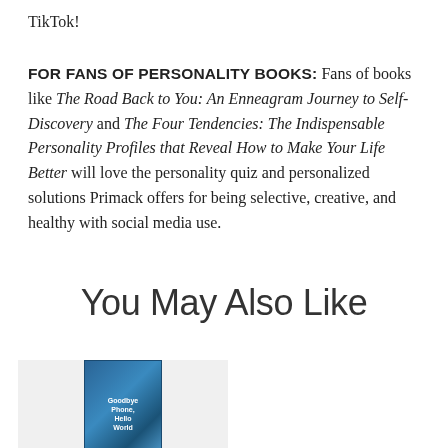TikTok!
FOR FANS OF PERSONALITY BOOKS: Fans of books like The Road Back to You: An Enneagram Journey to Self-Discovery and The Four Tendencies: The Indispensable Personality Profiles that Reveal How to Make Your Life Better will love the personality quiz and personalized solutions Primack offers for being selective, creative, and healthy with social media use.
You May Also Like
[Figure (photo): Book cover of 'Goodbye Phone, Hello World' with blue gradient design]